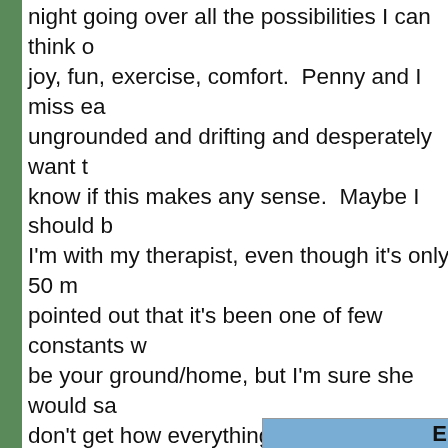night going over all the possibilities I can think of joy, fun, exercise, comfort.  Penny and I miss ea ungrounded and drifting and desperately want t know if this makes any sense.  Maybe I should b I'm with my therapist, even though it's only 50 m pointed out that it's been one of few constants w be your ground/home, but I'm sure she would sa don't get how everything can be okay with her-- that before.  I sure can't!
[Figure (other): Blue advertisement box partially visible, containing italic text 'For 30+ years, comp', bold text 'San', 'I can work with a', 'Including San Francisco, Berkeley,', 'Sacr']